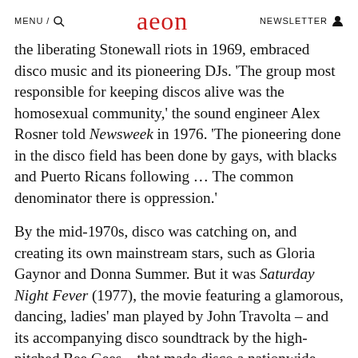MENU / [search icon]   aeon   NEWSLETTER [person icon]
the liberating Stonewall riots in 1969, embraced disco music and its pioneering DJs. 'The group most responsible for keeping discos alive was the homosexual community,' the sound engineer Alex Rosner told Newsweek in 1976. 'The pioneering done in the disco field has been done by gays, with blacks and Puerto Ricans following … The common denominator there is oppression.'
By the mid-1970s, disco was catching on, and creating its own mainstream stars, such as Gloria Gaynor and Donna Summer. But it was Saturday Night Fever (1977), the movie featuring a glamorous, dancing, ladies' man played by John Travolta – and its accompanying disco soundtrack by the high-pitched Bee Gees – that made disco a nationwide phenomenon. 'The Bee